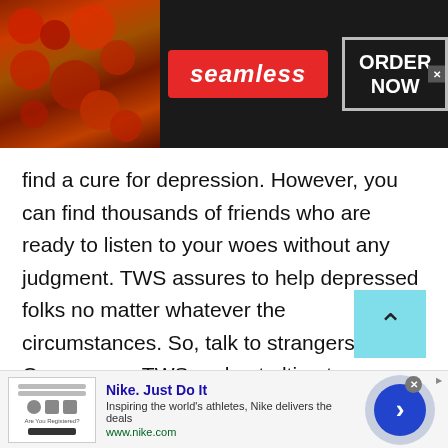[Figure (screenshot): Seamless food delivery advertisement banner with pizza image on left, red Seamless logo in center, and ORDER NOW button on right]
find a cure for depression. However, you can find thousands of friends who are ready to listen to your woes without any judgment. TWS assures to help depressed folks no matter whatever the circumstances. So, talk to strangers in Comoros on TWS and get ultimate guidance or support within no time. TWS always takes care of your mental health. So, what would you prefer: free online therapy or paid therapist?
[Figure (screenshot): Nike advertisement banner: Nike. Just Do It - Inspiring the world's athletes, Nike delivers the deals - www.nike.com]